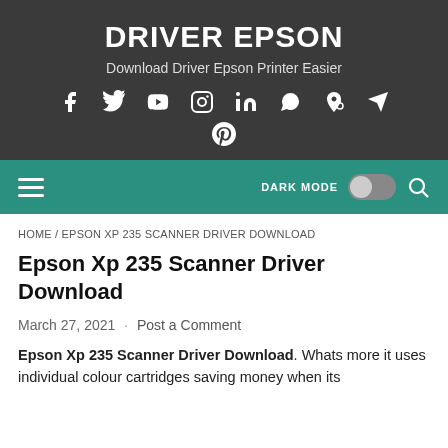DRIVER EPSON
Download Driver Epson Printer Easier
[Figure (other): Social media icons row: Facebook, Twitter, YouTube, Instagram, LinkedIn, WhatsApp, Google Maps, Telegram; and second row: Pinterest]
Navigation bar with hamburger menu, DARK MODE toggle, and search icon
HOME / EPSON XP 235 SCANNER DRIVER DOWNLOAD
Epson Xp 235 Scanner Driver Download
March 27, 2021 · Post a Comment
Epson Xp 235 Scanner Driver Download. Whats more it uses individual colour cartridges saving money when its